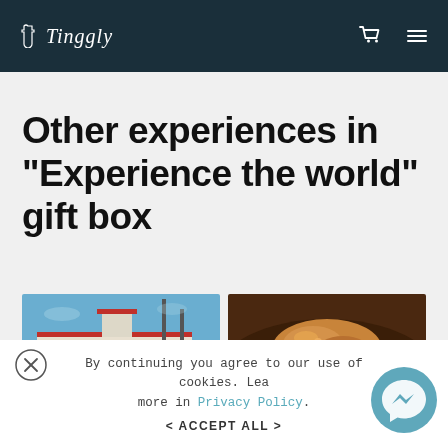Tinggly
Other experiences in "Experience the world" gift box
[Figure (photo): Photo of a riverside building with tall chimneys against a blue sky]
[Figure (photo): Close-up photo of food, appears to be some kind of pastry or seafood dish]
By continuing you agree to our use of cookies. Learn more in Privacy Policy.
< ACCEPT ALL >